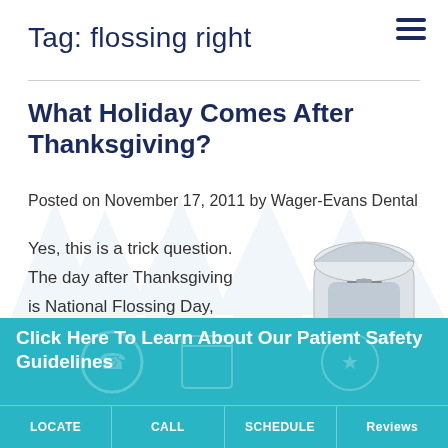Tag: flossing right
What Holiday Comes After Thanksgiving?
Posted on November 17, 2011 by Wager-Evans Dental
Yes, this is a trick question. The day after Thanksgiving is National Flossing Day, and Drs. Wager and Evans
[Figure (photo): A white dental floss dispenser container]
Click Here To Learn About Our Patient Safety Guidelines
LOCATE | CALL | SCHEDULE | Reviews